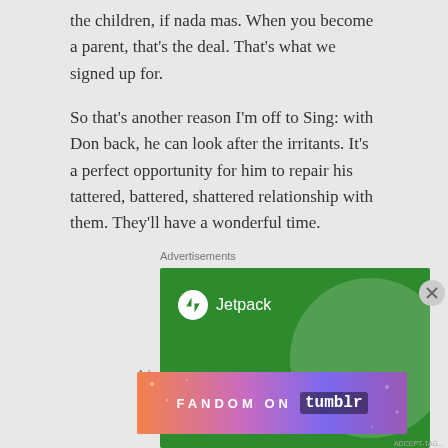the children, if nada mas. When you become a parent, that's the deal. That's what we signed up for.
So that's another reason I'm off to Sing: with Don back, he can look after the irritants. It's a perfect opportunity for him to repair his tattered, battered, shattered relationship with them. They'll have a wonderful time.
Advertisements
[Figure (infographic): Jetpack advertisement on green background with circular design element. Text reads 'The best real-time WordPress backup']
Advertisements
[Figure (infographic): Fandom on Tumblr advertisement with colorful gradient background showing music and fandom icons]